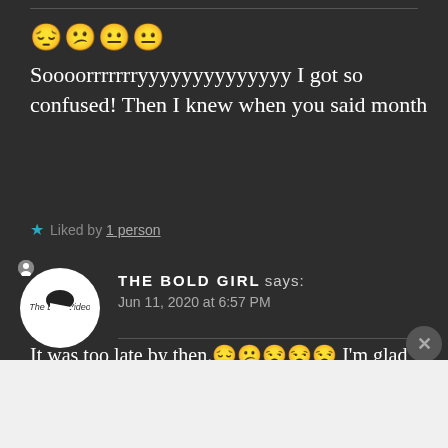😔😕😐😐 Soooorrrrrrryyyyyyyyyyyyyy I got so confused! Then I knew when you said month
★ Liked by 1 person
THE BOLD GIRL says: Jun 11, 2020 at 6:57 PM
It was too late by then.😔😕😒😒😒 I'm glad that it has a
[Figure (screenshot): WooCommerce advertisement banner: How to start selling subscriptions online]
Advertisements